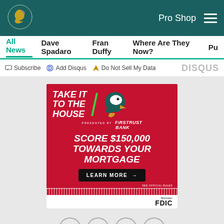Philadelphia Eagles - Pro Shop
All News | Dave Spadaro | Fran Duffy | Where Are They Now? | Pu
Subscribe | Add Disqus | Do Not Sell My Data | DISQUS
[Figure (infographic): Red advertisement banner for Eagles/Firstrust Bank promotion. Text reads: TAKE IT TO THE HOUSE / presented by FIRSTRUST BANK / SCORE $150,000 TOWARDS YOUR MORTGAGE / LEARN MORE → / SEE OFFICIAL RULES / Member FDIC]
Social share icons: Facebook, Twitter, Email, Link